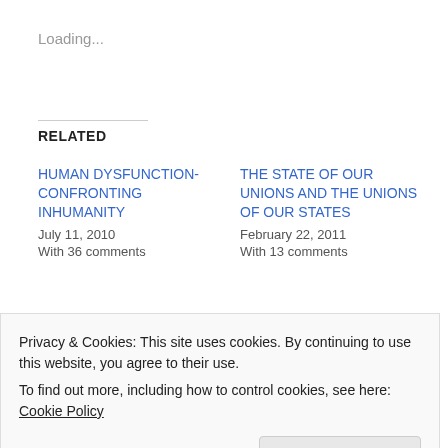Loading...
RELATED
HUMAN DYSFUNCTION- CONFRONTING INHUMANITY
July 11, 2010
With 36 comments
THE STATE OF OUR UNIONS AND THE UNIONS OF OUR STATES
February 22, 2011
With 13 comments
CLASS WARFARE- THE NEW CIVIL
Privacy & Cookies: This site uses cookies. By continuing to use this website, you agree to their use.
To find out more, including how to control cookies, see here: Cookie Policy
Close and accept